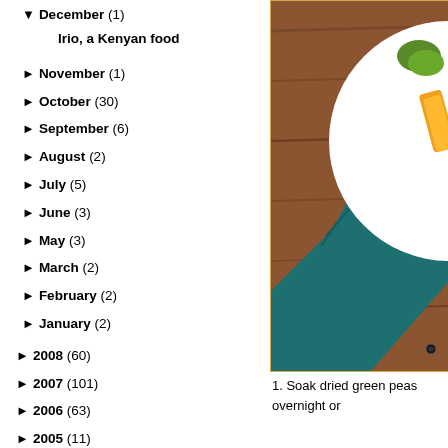▼ December (1)
Irio, a Kenyan food
► November (1)
► October (30)
► September (6)
► August (2)
► July (5)
► June (3)
► May (3)
► March (2)
► February (2)
► January (2)
► 2008 (60)
► 2007 (101)
► 2006 (63)
► 2005 (11)
► 2004 (4)
[Figure (photo): Photo of a white plate with colorful food (yellow, orange, green) on a wooden table with a teal/dark cyan fringe cloth, photographed from above and to the side. Visible in right portion of page.]
1. Soak dried green peas overnight or